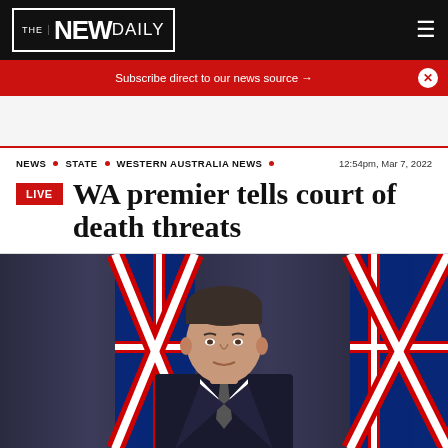THE NEW DAILY
Subscribe direct to our news source →
NEWS • STATE • WESTERN AUSTRALIA NEWS • 12:54pm, Mar 7, 2022
WA premier tells court of death threats
[Figure (photo): Man in suit standing at a podium with Australian flags in the background, photographed from chest up]